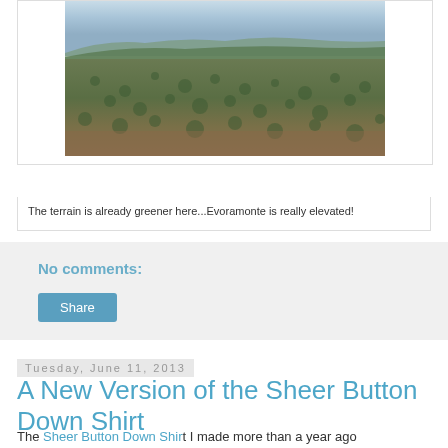[Figure (photo): Landscape photograph showing a wide, elevated view of terrain with green and brown scrubland/olive trees stretching to the horizon under a pale blue sky. Location: Evoramonte, Portugal.]
The terrain is already greener here...Evoramonte is really elevated!
No comments:
Share
Tuesday, June 11, 2013
A New Version of the Sheer Button Down Shirt
The Sheer Button Down Shirt I made more than a year ago